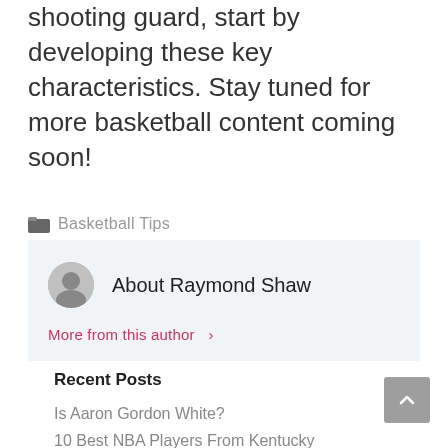shooting guard, start by developing these key characteristics. Stay tuned for more basketball content coming soon!
🗂 Basketball Tips
About Raymond Shaw
More from this author ›
Recent Posts
Is Aaron Gordon White?
10 Best NBA Players From Kentucky